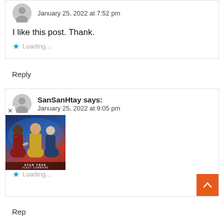January 25, 2022 at 7:52 pm
I like this post. Thank.
Loading...
Reply
SanSanHtay says:
January 25, 2022 at 9:05 pm
Loading...
Reply
[Figure (photo): Star Trek Fleet Command advertisement showing three characters in Star Trek uniforms against a blue background, with 'STAR TREK FLEET COMMAND' text at the bottom]